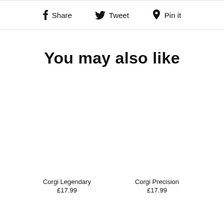Share  Tweet  Pin it
You may also like
Corgi Legendary
£17.99
Corgi Precision
£17.99